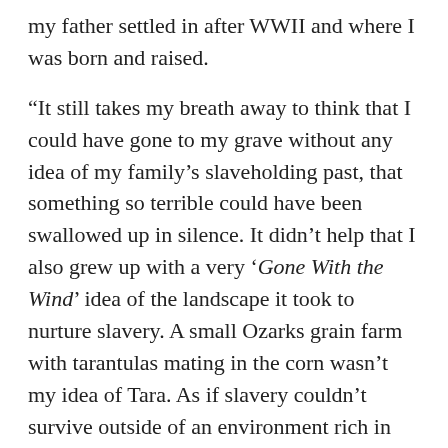my father settled in after WWII and where I was born and raised.
“It still takes my breath away to think that I could have gone to my grave without any idea of my family’s slaveholding past, that something so terrible could have been swallowed up in silence. It didn’t help that I also grew up with a very ‘Gone With the Wind’ idea of the landscape it took to nurture slavery. A small Ozarks grain farm with tarantulas mating in the corn wasn’t my idea of Tara. As if slavery couldn’t survive outside of an environment rich in moonlight, magnolias, Spanish moss, oak alleys, Southern belles, mammy, and the big house. These revelations really drove me to work against myth and bad history regarding where slavery took place, and who was involved in it. God-fearing ministers held slaves. Revolutionary War soldiers fighting for freedom owned them. Small landowners and men who supported the Union troops during the Civil War kept them. Examples of all four of these